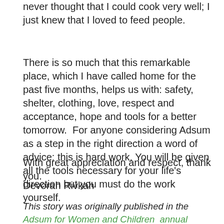never thought that I could cook very well; I just knew that I loved to feed people.
There is so much that this remarkable place, which I have called home for the past five months, helps us with: safety, shelter, clothing, love, respect and acceptance, hope and tools for a better tomorrow.  For anyone considering Adsum as a step in the right direction a word of advice: this is hard work. You will be given all the tools necessary for your life's direction but you must do the work yourself.
With great appreciation and respect, thank you.
Devorah Rivkah
This story was originally published in the Adsum for Women and Children  annual report 2017-2018. Republished on our site with the kind permission of